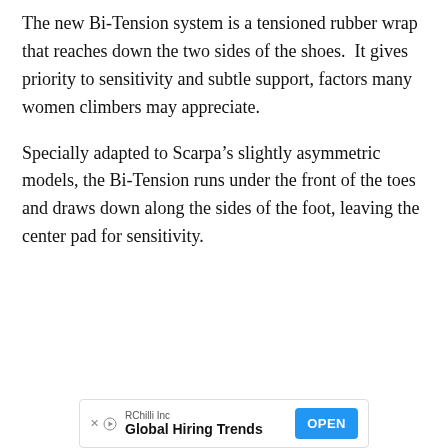The new Bi-Tension system is a tensioned rubber wrap that reaches down the two sides of the shoes.  It gives priority to sensitivity and subtle support, factors many women climbers may appreciate.
Specially adapted to Scarpa’s slightly asymmetric models, the Bi-Tension runs under the front of the toes and draws down along the sides of the foot, leaving the center pad for sensitivity.
[Figure (other): Advertisement banner: RChilli Inc - Global Hiring Trends - OPEN button]